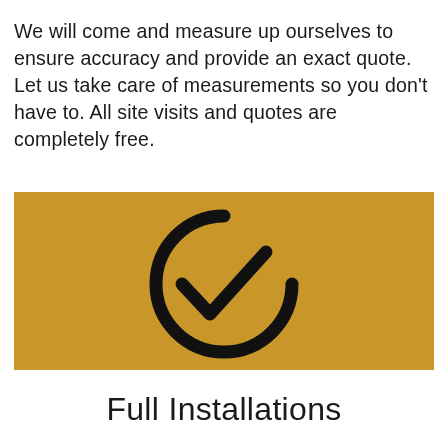We will come and measure up ourselves to ensure accuracy and provide an exact quote. Let us take care of measurements so you don't have to. All site visits and quotes are completely free.
[Figure (illustration): Gold/yellow rectangular background with a large black circle-check (checkmark inside an open circle) icon centered on it]
Full Installations